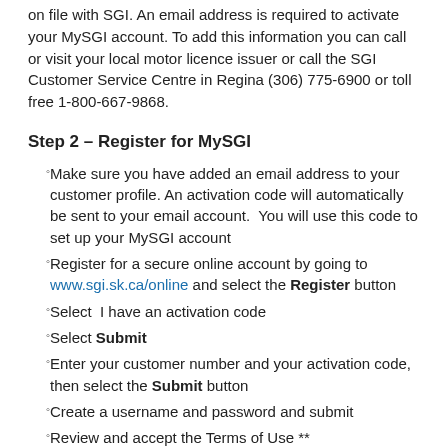on file with SGI. An email address is required to activate your MySGI account. To add this information you can call or visit your local motor licence issuer or call the SGI Customer Service Centre in Regina (306) 775-6900 or toll free 1-800-667-9868.
Step 2 – Register for MySGI
Make sure you have added an email address to your customer profile. An activation code will automatically be sent to your email account. You will use this code to set up your MySGI account
Register for a secure online account by going to www.sgi.sk.ca/online and select the Register button
Select  I have an activation code
Select Submit
Enter your customer number and your activation code, then select the Submit button
Create a username and password and submit
Review and accept the Terms of Use **
Welcome to MySGI
At the time of your learner's exam you will be required to log